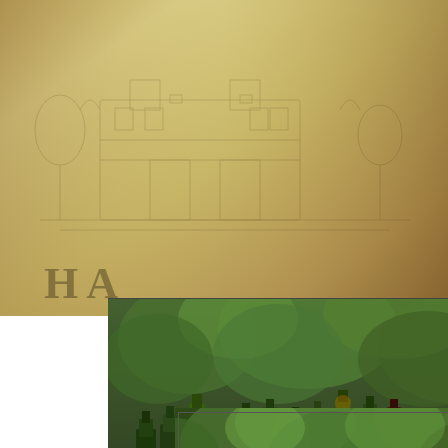[Figure (photo): Sepia-toned close-up background photo of wine bottle labels showing chateau engraving artwork]
[Figure (photo): Photo of many wine bottles displayed on shelves with green plants/foliage in background]
Don't miss out on the good juice!
Sign up here to get the latest updates and special offers
Email address
We will not share your information
B
C
Bordeaux Blend | Pauillac, France
"A brilliant wine that shares some similarities with the